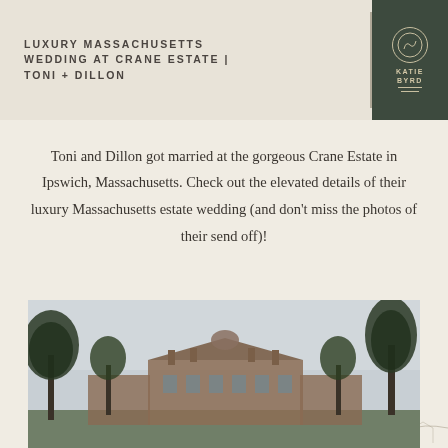LUXURY MASSACHUSETTS WEDDING AT CRANE ESTATE | TONI + DILLON
[Figure (logo): Katie Byrd photography logo: dark green square with circle outline and text KATIE BYRD with decorative lines]
Toni and Dillon got married at the gorgeous Crane Estate in Ipswich, Massachusetts. Check out the elevated details of their luxury Massachusetts estate wedding (and don't miss the photos of their send off)!
[Figure (photo): Exterior photograph of Crane Estate mansion viewed from lawn, with tall trees flanking the building and overcast sky]